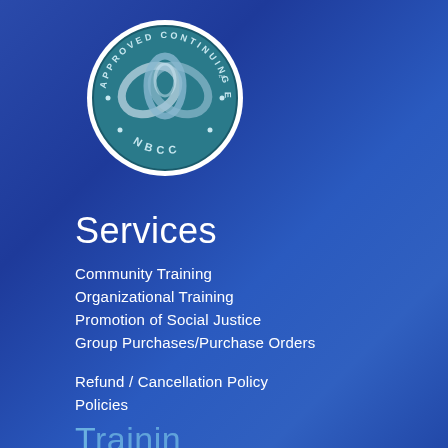[Figure (logo): NBCC Approved Continuing Education Provider circular seal/logo with teal background and intertwined ribbon design]
Services
Community Training
Organizational Training
Promotion of Social Justice
Group Purchases/Purchase Orders
Refund / Cancellation Policy
Policies
Training